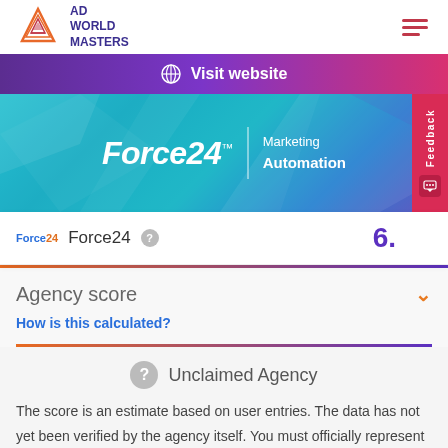[Figure (logo): Ad World Masters logo with triangle/diamond icon and text 'AD WORLD MASTERS']
Visit website
[Figure (logo): Force24 Marketing Automation logo on teal/blue geometric background]
Force24  6.
Agency score
How is this calculated?
Unclaimed Agency
The score is an estimate based on user entries. The data has not yet been verified by the agency itself. You must officially represent this agency and